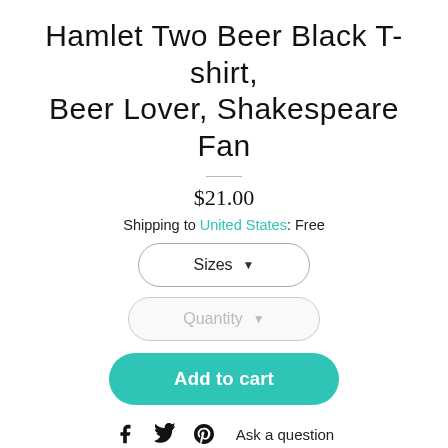Hamlet Two Beer Black T-shirt, Beer Lover, Shakespeare Fan
$21.00
Shipping to United States: Free
[Figure (other): Sizes dropdown button with arrow]
[Figure (other): Quantity dropdown button with arrow]
[Figure (other): Add to cart teal button]
Facebook icon, Twitter icon, Pinterest icon, Ask a question